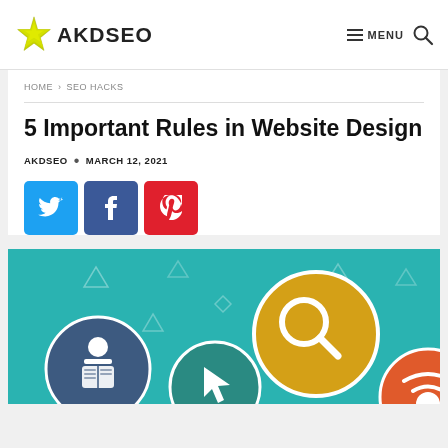AKDSEO — MENU (navigation bar with logo, menu and search)
HOME › SEO HACKS
5 Important Rules in Website Design
AKDSEO • MARCH 12, 2021
[Figure (infographic): Three social share buttons: Twitter (blue), Facebook (dark blue/indigo), Pinterest (red), each showing the respective social network icon.]
[Figure (illustration): Teal/turquoise background infographic with circular icons: a dark blue circle with a person reading a book, a teal circle with a cursor/arrow, a yellow circle with a magnifying glass (search), and partly visible orange circle. Decorative triangle outlines scattered across background.]